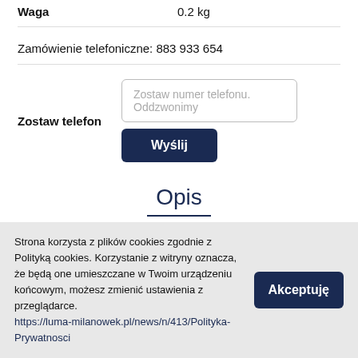| Waga | 0.2 kg |
| --- | --- |
Zamówienie telefoniczne: 883 933 654
Zostaw telefon
Zostaw numer telefonu. Oddzwonimy
Wyślij
Opis
Personalizacja
Strona korzysta z plików cookies zgodnie z Polityką cookies. Korzystanie z witryny oznacza, że będą one umieszczane w Twoim urządzeniu końcowym, możesz zmienić ustawienia z przeglądarce. https://luma-milanowek.pl/news/n/413/Polityka-Prywatnosci
Akceptuję